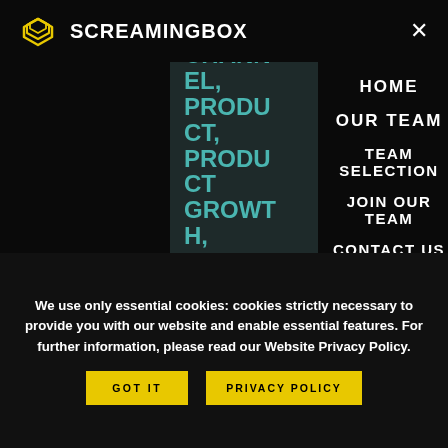[Figure (logo): ScreamingBox logo: yellow hexagonal layered icon with white text SCREAMINGBOX]
OMNI-CHANNEL, PRODUCT, PRODUCT GROWTH, PRODUCT MARKETING, SMB, START
HOME
OUR TEAM
TEAM SELECTION
JOIN OUR TEAM
CONTACT US
We use only essential cookies: cookies strictly necessary to provide you with our website and enable essential features. For further information, please read our Website Privacy Policy.
GOT IT
PRIVACY POLICY